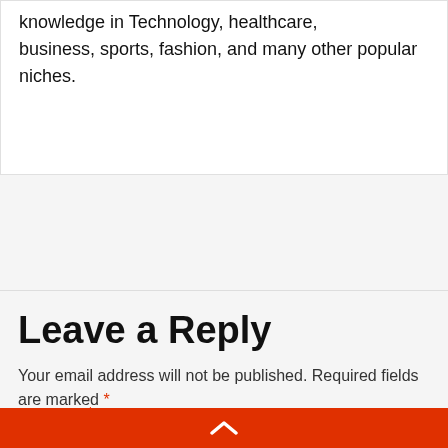knowledge in Technology, healthcare, business, sports, fashion, and many other popular niches.
Leave a Reply
Your email address will not be published. Required fields are marked *
Comment *